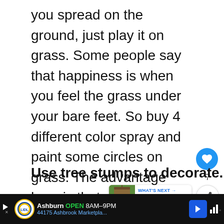you spread on the ground, just play it on grass. Some people say that happiness is when you feel the grass under your bare feet. So buy 4 different color spray and paint some circles on grass. The advantage here is that you can paint as many circles as you want and thus, increase the number of players.
Use tree stumps to decorate.
[Figure (screenshot): Like button (heart icon) in blue circle, count of 7, and share button]
[Figure (screenshot): What's Next panel: 10 Best Gazebos...]
[Figure (photo): Two photos side by side: garden with flowers and plants]
[Figure (screenshot): Advertisement bar: Lidl - Ashburn OPEN 8AM-9PM, 44175 Ashbrook Marketpla...]